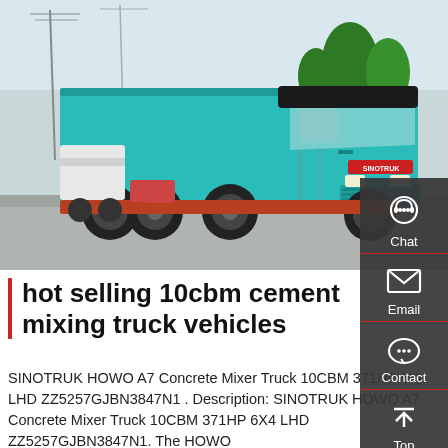[Figure (photo): A teal/cyan SINOTRUK HOWO dump truck parked on a road, with trees and utility poles in the background. The truck is large with 6 wheels visible and has a raised dump bed.]
Chat
Email
Contact
Top
hot selling 10cbm cement mixing truck vehicles
SINOTRUK HOWO A7 Concrete Mixer Truck 10CBM 371HP 6X4 LHD ZZ5257GJBN3847N1 . Description: SINOTRUK HOWO A7 Concrete Mixer Truck 10CBM 371HP 6X4 LHD ZZ5257GJBN3847N1. The HOWO